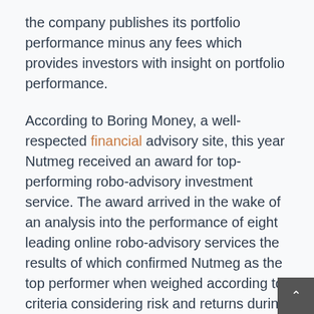the company publishes its portfolio performance minus any fees which provides investors with insight on portfolio performance.
According to Boring Money, a well-respected financial advisory site, this year Nutmeg received an award for top-performing robo-advisory investment service. The award arrived in the wake of an analysis into the performance of eight leading online robo-advisory services the results of which confirmed Nutmeg as the top performer when weighed according to criteria considering risk and returns during the previous 12 months.
Since its inception, the company founders, frustrated with red tape and insider jargon, focused on and worked hard toward establishing a brokerage service accessible and